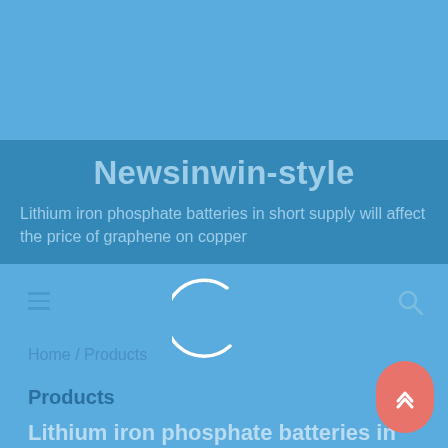Newsinwin-style
Lithium iron phosphate batteries in short supply will affect the price of graphene on copper
[Figure (screenshot): Navigation bar with hamburger menu icon on left, loading spinner arc in center, and search icon on right]
Home / Products
Products
0
Lithium iron phosphate batteries in sho